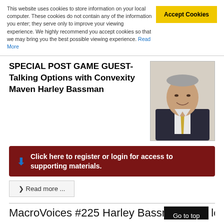This website uses cookies to store information on your local computer. These cookies do not contain any of the information you enter; they serve only to improve your viewing experience. We highly recommend you accept cookies so that we may bring you the best possible viewing experience. Read More
SPECIAL POST GAME GUEST- Talking Options with Convexity Maven Harley Bassman
[Figure (photo): Portrait photo of Harley Bassman, a man in a dark suit with a yellow tie, smiling, against a light background]
Click here to register or login for access to supporting materials.
Read more ...
MacroVoices #225 Harley Bassman: The long